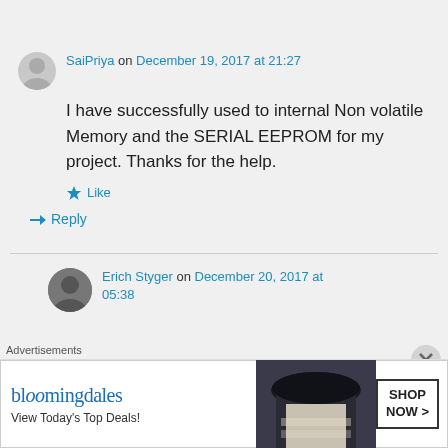SaiPriya on December 19, 2017 at 21:27
I have successfully used to internal Non volatile Memory and the SERIAL EEPROM for my project. Thanks for the help.
Like
Reply
Erich Styger on December 20, 2017 at 05:38
Advertisements
[Figure (other): Bloomingdales advertisement banner with logo, tagline 'View Today's Top Deals!', woman in hat image, and 'SHOP NOW >' button]